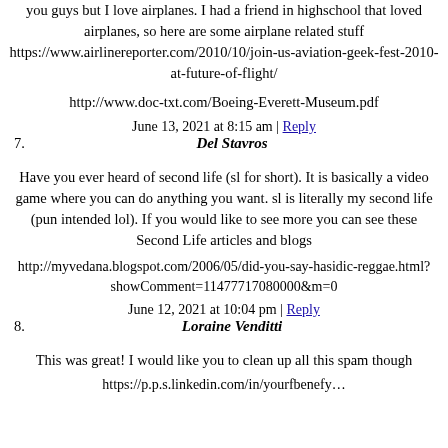you guys but I love airplanes. I had a friend in highschool that loved airplanes, so here are some airplane related stuff https://www.airlinereporter.com/2010/10/join-us-aviation-geek-fest-2010-at-future-of-flight/
http://www.doc-txt.com/Boeing-Everett-Museum.pdf
June 13, 2021 at 8:15 am | Reply
7. Del Stavros
Have you ever heard of second life (sl for short). It is basically a video game where you can do anything you want. sl is literally my second life (pun intended lol). If you would like to see more you can see these Second Life articles and blogs
http://myvedana.blogspot.com/2006/05/did-you-say-hasidic-reggae.html?showComment=11477717080000&m=0
June 12, 2021 at 10:04 pm | Reply
8. Loraine Venditti
This was great! I would like you to clean up all this spam though
https://p.p.s.linkedin.com/in/yourfbenefy...